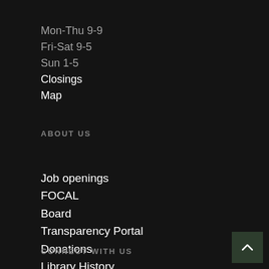Mon-Thu 9-9
Fri-Sat 9-5
Sun 1-5
Closings
Map
ABOUT US
Job openings
FOCAL
Board
Transparency Portal
Donations
Library History
CONNECT WITH US